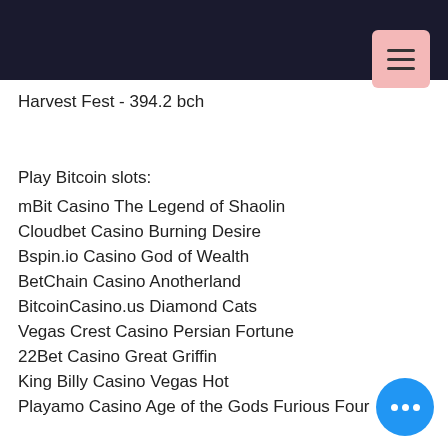Harvest Fest - 394.2 bch
Play Bitcoin slots:
mBit Casino The Legend of Shaolin
Cloudbet Casino Burning Desire
Bspin.io Casino God of Wealth
BetChain Casino Anotherland
BitcoinCasino.us Diamond Cats
Vegas Crest Casino Persian Fortune
22Bet Casino Great Griffin
King Billy Casino Vegas Hot
Playamo Casino Age of the Gods Furious Four
CryptoWild Casino King Queen
Playamo Casino Moonshine
Bitcasino.io Diamond Cherries
Vegas Crest Casino Cricket Star
Betchan Casino Great Warrior